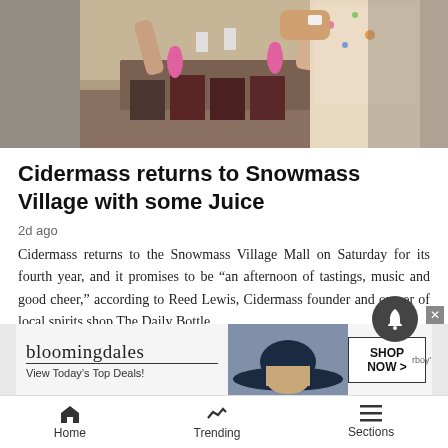[Figure (photo): Two people toasting with shot glasses over a table with colorful Schilling cider boxes and pink flamingo decorations]
Cidermass returns to Snowmass Village with some Juice
2d ago
Cidermass returns to the Snowmass Village Mall on Saturday for its fourth year, and it promises to be “an afternoon of tastings, music and good cheer,” according to Reed Lewis, Cidermass founder and owner of local spirits shop The Daily Bottle.
[Figure (screenshot): Bloomingdale's advertisement: View Today's Top Deals! SHOP NOW >]
Home   Trending   Sections